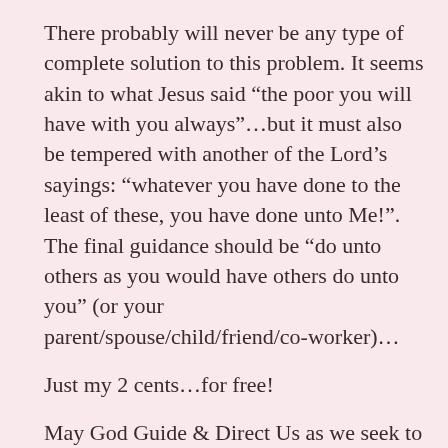There probably will never be any type of complete solution to this problem. It seems akin to what Jesus said “the poor you will have with you always”…but it must also be tempered with another of the Lord’s sayings: “whatever you have done to the least of these, you have done unto Me!”. The final guidance should be “do unto others as you would have others do unto you” (or your parent/spouse/child/friend/co-worker)…
Just my 2 cents…for free!
May God Guide & Direct Us as we seek to address these glaring needs…
This entry was posted on February 17, 2018, in Championing Others, Christianity, Connections, Faith